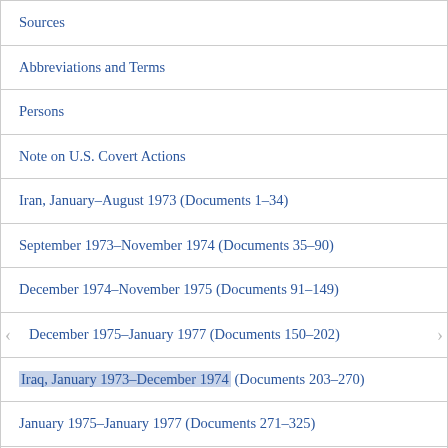Sources
Abbreviations and Terms
Persons
Note on U.S. Covert Actions
Iran, January–August 1973 (Documents 1–34)
September 1973–November 1974 (Documents 35–90)
December 1974–November 1975 (Documents 91–149)
December 1975–January 1977 (Documents 150–202)
Iraq, January 1973–December 1974 (Documents 203–270)
January 1975–January 1977 (Documents 271–325)